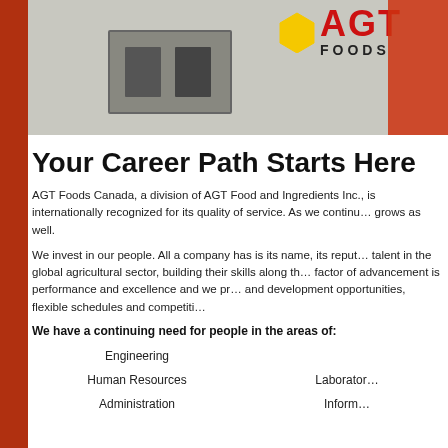[Figure (photo): Photo banner showing an AGT Foods facility interior with electrical panels/equipment on the wall and a person in a red shirt on the right side. AGT Foods logo visible in upper right with yellow diamond graphic.]
Your Career Path Starts Here
AGT Foods Canada, a division of AGT Food and Ingredients Inc., is internationally recognized for its quality of service. As we continue to grow, our need for skilled professionals grows as well.
We invest in our people. All a company has is its name, its reputation, and its people. We develop talent in the global agricultural sector, building their skills along the way. Our primary determining factor of advancement is performance and excellence and we provide employees with training and development opportunities, flexible schedules and competitive salaries.
We have a continuing need for people in the areas of:
Engineering
Human Resources
Administration
Laboratory
Information